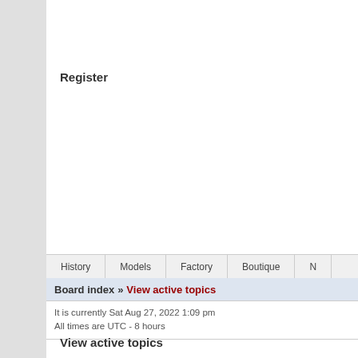Register
| History | Models | Factory | Boutique | N |
| --- | --- | --- | --- | --- |
Board index » View active topics
It is currently Sat Aug 27, 2022 1:09 pm
All times are UTC - 8 hours
View active topics